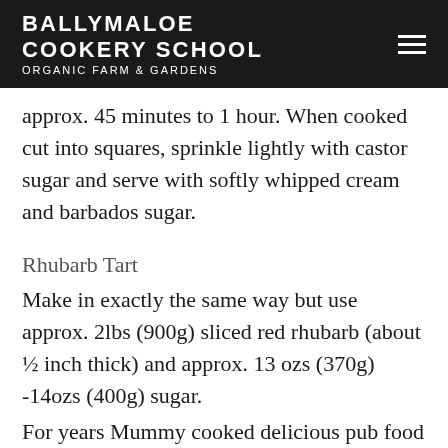BALLYMALOE COOKERY SCHOOL ORGANIC FARM & GARDENS
approx. 45 minutes to 1 hour. When cooked cut into squares, sprinkle lightly with castor sugar and serve with softly whipped cream and barbados sugar.
Rhubarb Tart
Make in exactly the same way but use approx. 2lbs (900g) sliced red rhubarb (about ½ inch thick) and approx. 13 ozs (370g) -14ozs (400g) sugar.
For years Mummy cooked delicious pub food in our family pub The Sportsmans Inn in Cullohill, Co Laois. So many of your letters of